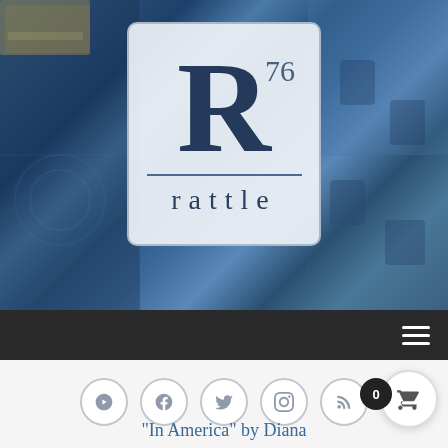[Figure (screenshot): Rattle poetry magazine website screenshot showing hero banner with blue quilt-pattern background, Rattle logo (R with superscript 76 and 'rattle' text), dark navbar with hamburger menu, social media icons row (YouTube, Facebook, Twitter, Instagram, RSS), shopping cart button with badge showing 0, and partial title text 'In America by Diana' at bottom]
“In America” by Diana